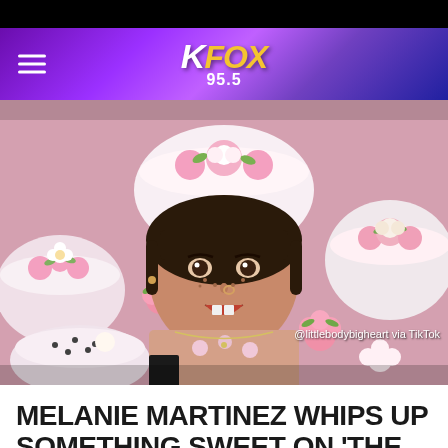KFOX 95.5
[Figure (photo): A young woman with dark hair lying among decorative cakes and floral frosting decorations, mouth open, wearing a floral patterned top. Attribution: @littlebodybigheart via TikTok]
@littlebodybigheart via TikTok
MELANIE MARTINEZ WHIPS UP SOMETHING SWEET ON 'THE